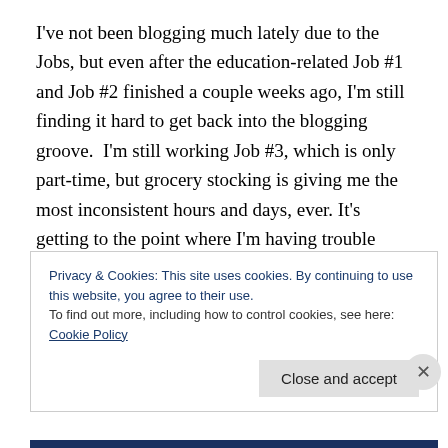I've not been blogging much lately due to the Jobs, but even after the education-related Job #1 and Job #2 finished a couple weeks ago, I'm still finding it hard to get back into the blogging groove.  I'm still working Job #3, which is only part-time, but grocery stocking is giving me the most inconsistent hours and days, ever. It's getting to the point where I'm having trouble remembering what day of the week it is.
The Geekling has yet to sleep through the night; I'm not feeding him at nights, but apparently Grandma Ears are
Privacy & Cookies: This site uses cookies. By continuing to use this website, you agree to their use.
To find out more, including how to control cookies, see here: Cookie Policy